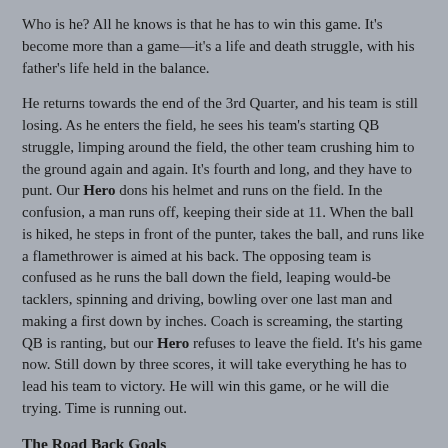Who is he? All he knows is that he has to win this game. It's become more than a game—it's a life and death struggle, with his father's life held in the balance.
He returns towards the end of the 3rd Quarter, and his team is still losing. As he enters the field, he sees his team's starting QB struggle, limping around the field, the other team crushing him to the ground again and again. It's fourth and long, and they have to punt. Our Hero dons his helmet and runs on the field. In the confusion, a man runs off, keeping their side at 11. When the ball is hiked, he steps in front of the punter, takes the ball, and runs like a flamethrower is aimed at his back. The opposing team is confused as he runs the ball down the field, leaping would-be tacklers, spinning and driving, bowling over one last man and making a first down by inches. Coach is screaming, the starting QB is ranting, but our Hero refuses to leave the field. It's his game now. Still down by three scores, it will take everything he has to lead his team to victory. He will win this game, or he will die trying. Time is running out.
The Road Back Goals
Return to the Ordinary World. Stick to your Hero's...